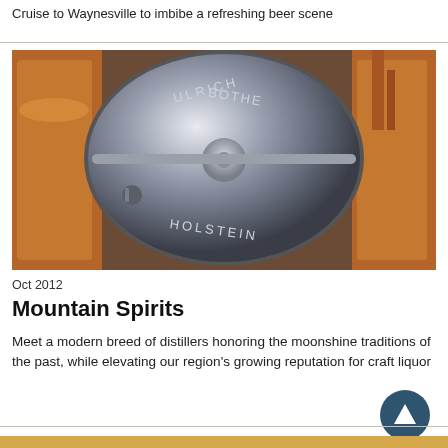Cruise to Waynesville to imbibe a refreshing beer scene
[Figure (photo): Close-up of a copper and steel distillery still with engraved circular metal cap, copper tanks visible in background]
Oct 2012
Mountain Spirits
Meet a modern breed of distillers honoring the moonshine traditions of the past, while elevating our region's growing reputation for craft liquor